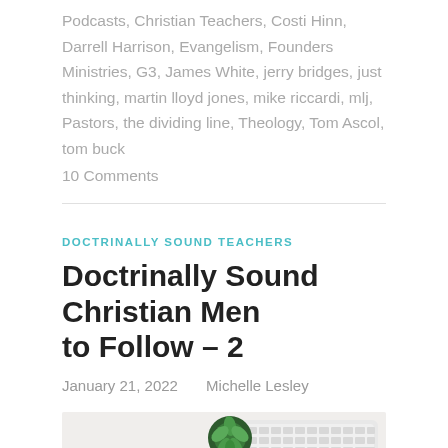Podcasts, Christian Teachers, Costi Hinn, Darrell Harrison, Evangelism, Founders Ministries, G3, James White, jerry bridges, just thinking, martin lloyd jones, mike riccardi, mlj, Pastors, the dividing line, Theology, Tom Ascol, tom buck
10 Comments
DOCTRINALLY SOUND TEACHERS
Doctrinally Sound Christian Men to Follow – 2
January 21, 2022   Michelle Lesley
[Figure (photo): Desk scene with a white wireless keyboard in the upper right, a small succulent plant in a round pot in the upper center, and a light-colored background]